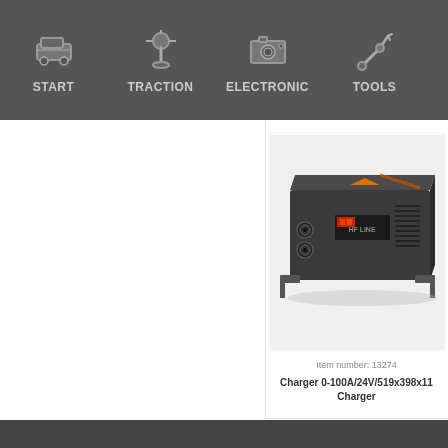START | TRACTION | ELECTRONIC | TOOLS
[Figure (photo): Battery charger device, black metal enclosure with orange triangle indicator, labeled HF LINE, model 0-100A/24V, with multiple connectors on front]
Item number: 13274
Charger 0-100A/24V/519x398x11 Charger
> Read more   Compa